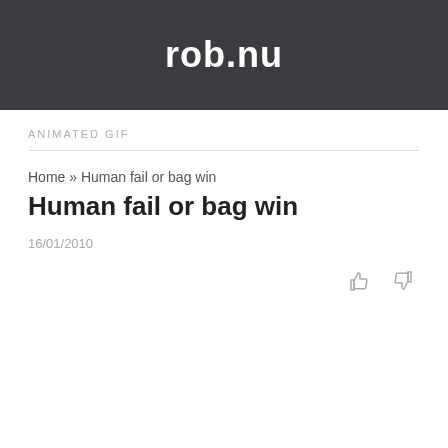rob.nu
ANIMATED GIF
Home » Human fail or bag win
Human fail or bag win
16/01/2010